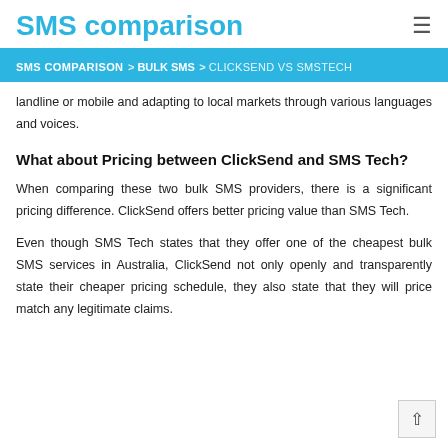SMS comparison
SMS COMPARISON > BULK SMS > CLICKSEND VS SMSTECH
landline or mobile and adapting to local markets through various languages and voices.
What about Pricing between ClickSend and SMS Tech?
When comparing these two bulk SMS providers, there is a significant pricing difference. ClickSend offers better pricing value than SMS Tech.
Even though SMS Tech states that they offer one of the cheapest bulk SMS services in Australia, ClickSend not only openly and transparently state their cheaper pricing schedule, they also state that they will price match any legitimate claims.